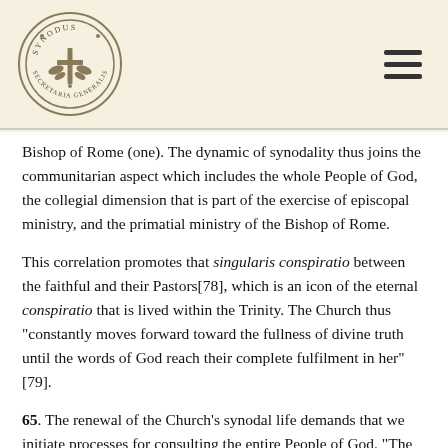SYNODUS SECRETARIA GENERALIS [logo]
Bishop of Rome (one). The dynamic of synodality thus joins the communitarian aspect which includes the whole People of God, the collegial dimension that is part of the exercise of episcopal ministry, and the primatial ministry of the Bishop of Rome.
This correlation promotes that singularis conspiratio between the faithful and their Pastors[78], which is an icon of the eternal conspiratio that is lived within the Trinity. The Church thus "constantly moves forward toward the fullness of divine truth until the words of God reach their complete fulfilment in her"[79].
65. The renewal of the Church's synodal life demands that we initiate processes for consulting the entire People of God. "The practice of consulting the faithful is not new in the life of the Church. In the Medieval Church a principle of Roman law was used: Quod omnes tangit, ab omnibus